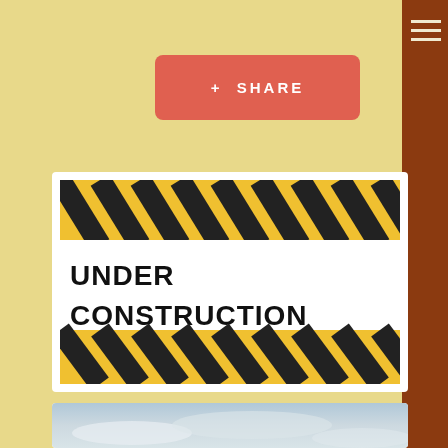[Figure (screenshot): Share button with plus icon, salmon/coral colored with white text '+ SHARE']
[Figure (photo): Under construction image with yellow and black hazard tape stripes at top and bottom, large stencil text reading UNDER CONSTRUCTION in the middle on white background]
[Figure (photo): Partially visible cloudy sky photograph at the bottom of the page]